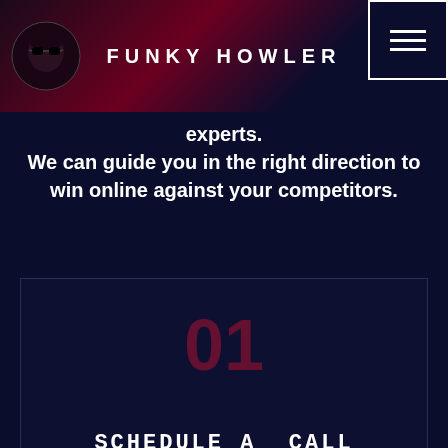FUNKY HOWLER
experts.
We can guide you in the right direction to win online against your competitors.
01
SCHEDULE A CALL
Schedule a call today to take your first step toward getting results online. You'll be talking with a digital marketing expert ready to create a plan for you.